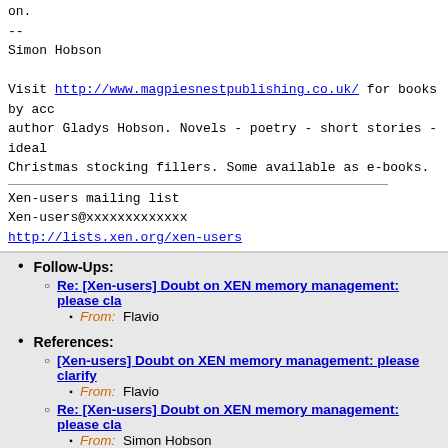on.
--
Simon Hobson

Visit http://www.magpiesnestpublishing.co.uk/ for books by accauthor Gladys Hobson. Novels - poetry - short stories - idealChristmas stocking fillers. Some available as e-books.
Xen-users mailing list
Xen-users@xxxxxxxxxxxxx
http://lists.xen.org/xen-users
Follow-Ups: Re: [Xen-users] Doubt on XEN memory management: please cla... From: Flavio
References: [Xen-users] Doubt on XEN memory management: please clarify... From: Flavio Re: [Xen-users] Doubt on XEN memory management: please cla... From: Simon Hobson Re: [Xen-users] Doubt on XEN memory management: please cla... From: Flavio